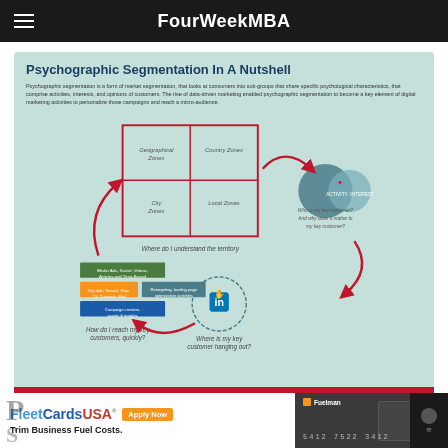FourWeekMBA
Psychographic Segmentation In A Nutshell
Psychographic segmentation is a form of market segmentation, that looks at consumers into sub-groups that share specific psychological characteristics, that comprise activities, interests, and opinions of customers. The rise of data-driven marketing enabled psychographic segmentation to become a key element of digital marketing activities to personalize those campaigns and reach a micro-audience.
[Figure (infographic): Circular framework diagram showing four interconnected questions: 'Where do I understand the territory?' (top, with a 2x2 matrix of Geographical Zones, Country Zones, City Zones, Local Zones), 'Who is my key customer? And why does it matter to my key customer?' (right, with overlapping circles), 'Where is my key customer hanging out?' (bottom, with a LinkedIn/social media icon), 'How do I reach my key customers, quickly?' (left, with colored blocks showing media channels). Red curved arrows connect the four questions in a cycle.]
FourWeekMBA
[Figure (other): Advertisement banner: FleetCardsUSA logo with 'Apply Now' button and tagline 'Trim Business Fuel Costs.' alongside a Fuelman card image showing number 5412 7522 3412]